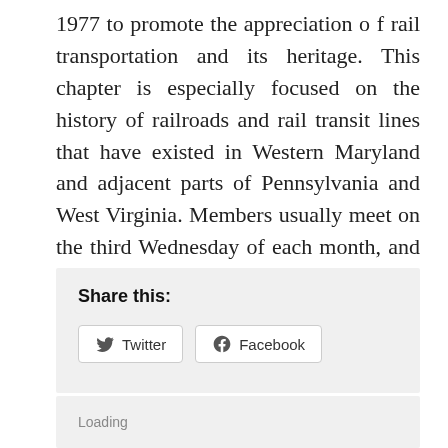1977 to promote the appreciation o f rail transportation and its heritage. This chapter is especially focused on the history of railroads and rail transit lines that have existed in Western Maryland and adjacent parts of Pennsylvania and West Virginia. Members usually meet on the third Wednesday of each month, and receive a monthly newsletter containing information about chapter activities, current railroad news, and local railroad history. Anyone who is interested in railroads is invited to attend.
Share this:
Twitter  Facebook
Loading